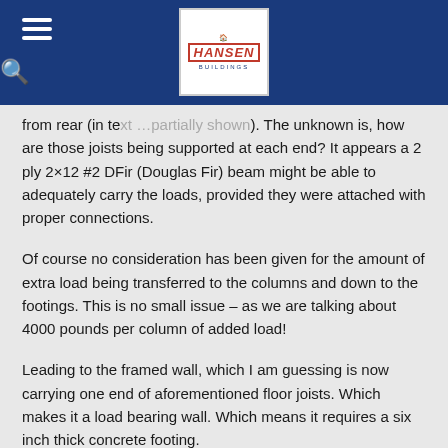Hansen Buildings
from rear (in text …partially shown). The unknown is, how are those joists being supported at each end? It appears a 2 ply 2×12 #2 DFir (Douglas Fir) beam might be able to adequately carry the loads, provided they were attached with proper connections.
Of course no consideration has been given for the amount of extra load being transferred to the columns and down to the footings. This is no small issue – as we are talking about 4000 pounds per column of added load!
Leading to the framed wall, which I am guessing is now carrying one end of aforementioned floor joists. Which makes it a load bearing wall. Which means it requires a six inch thick concrete footing.
In the end, my recommendation was to remove all of